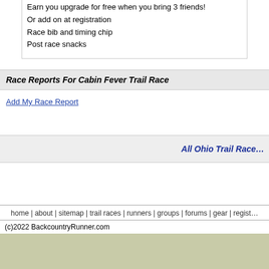Earn you upgrade for free when you bring 3 friends!
Or add on at registration
Race bib and timing chip
Post race snacks
Race Reports For Cabin Fever Trail Race
Add My Race Report
All Ohio Trail Race…
home | about | sitemap | trail races | runners | groups | forums | gear | regist…
(c)2022 BackcountryRunner.com